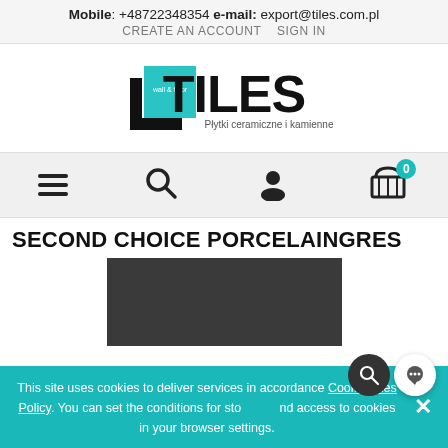Mobile: +48722348354 e-mail: export@tiles.com.pl
CREATE AN ACCOUNT   SIGN IN
[Figure (logo): Tiles wall & floor logo with teal square and black L-shape, text 'TILES Płytki ceramiczne i kamienne']
[Figure (infographic): Navigation bar with hamburger menu icon, search icon, user icon, and cart icon with teal badge showing 0]
SECOND CHOICE PORCELAINGRES
[Figure (photo): Dark grey/charcoal product tile image]
This site uses cookies to deliver services in accordance Cookie Files Policy. You can set the conditions for storing and access to cookies in your browser settings.